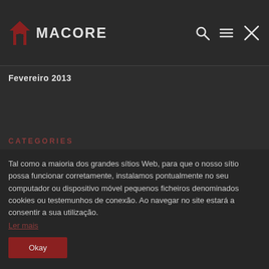MACORE
Fevereiro 2013
CATEGORIES
Tal como a maioria dos grandes sítios Web, para que o nosso sítio possa funcionar corretamente, instalamos pontualmente no seu computador ou dispositivo móvel pequenos ficheiros denominados cookies ou testemunhos de conexão. Ao navegar no site estará a consentir a sua utilização.
Ler mais
Okay